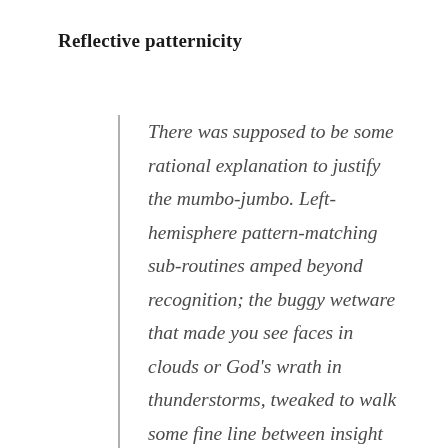Reflective patternicity
There was supposed to be some rational explanation to justify the mumbo-jumbo. Left-hemisphere pattern-matching sub-routines amped beyond recognition; the buggy wetware that made you see faces in clouds or God’s wrath in thunderstorms, tweaked to walk some fine line between insight and pareidolia. Apparently there were fundamental insights to be harvested along